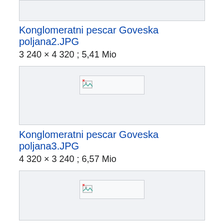[Figure (other): Top partial image box, cropped, light gray background]
Konglomeratni pescar Goveska poljana2.JPG
3 240 × 4 320 ; 5,41 Mio
[Figure (other): Broken image placeholder centered in light gray box]
Konglomeratni pescar Goveska poljana3.JPG
4 320 × 3 240 ; 6,57 Mio
[Figure (other): Broken image placeholder centered in light gray box, partially visible]